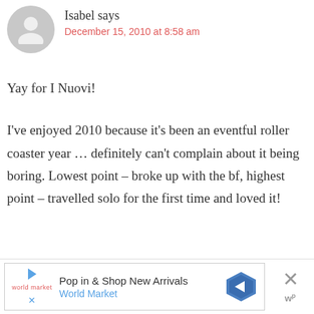Isabel says
December 15, 2010 at 8:58 am
Yay for I Nuovi!
I've enjoyed 2010 because it's been an eventful roller coaster year … definitely can't complain about it being boring. Lowest point – broke up with the bf, highest point – travelled solo for the first time and loved it!
[Figure (other): Advertisement banner for World Market: Pop in & Shop New Arrivals]